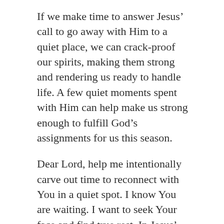If we make time to answer Jesus’ call to go away with Him to a quiet place, we can crack-proof our spirits, making them strong and rendering us ready to handle life. A few quiet moments spent with Him can help make us strong enough to fulfill God’s assignments for us this season.
Dear Lord, help me intentionally carve out time to reconnect with You in a quiet spot. I know You are waiting. I want to seek Your face and find true rest. In Jesus’ Name, Amen.
SHARE THIS:
[Figure (other): Share buttons: Tweet (Twitter/blue), Email (outline), More (outline)]
Loading...